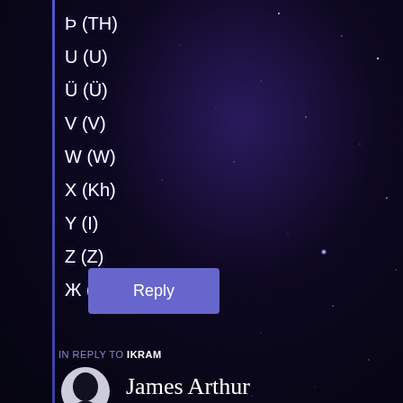Þ (TH)
U (U)
Ü (Ü)
V (V)
W (W)
X (Kh)
Y (I)
Z (Z)
Ж (Zh)
Reply
IN REPLY TO IKRAM
James Arthur